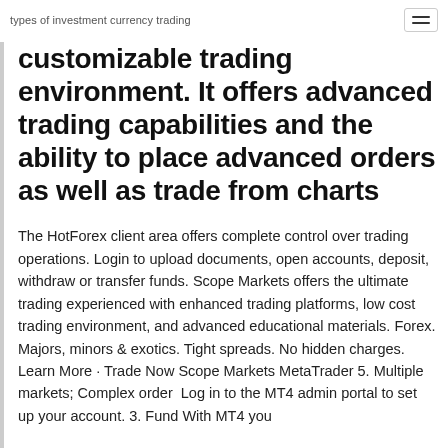types of investment currency trading
customizable trading environment. It offers advanced trading capabilities and the ability to place advanced orders as well as trade from charts
The HotForex client area offers complete control over trading operations. Login to upload documents, open accounts, deposit, withdraw or transfer funds. Scope Markets offers the ultimate trading experienced with enhanced trading platforms, low cost trading environment, and advanced educational materials. Forex. Majors, minors & exotics. Tight spreads. No hidden charges. Learn More · Trade Now Scope Markets MetaTrader 5. Multiple markets; Complex order  Log in to the MT4 admin portal to set up your account. 3. Fund With MT4 you